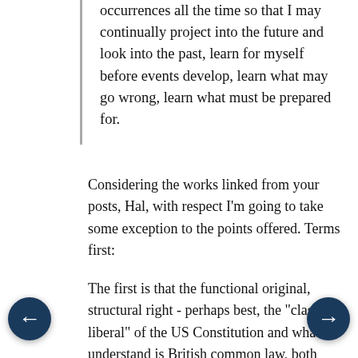occurrences all the time so that I may continually project into the future and look into the past, learn for myself before events develop, learn what may go wrong, learn what must be prepared for.
Considering the works linked from your posts, Hal, with respect I'm going to take some exception to the points offered. Terms first:
The first is that the functional original, structural right - perhaps best, the "classical liberal" of the US Constitution and what I understand is British common law, both going back for reference to the Magna Carta - is not identified by the fairly monolithic social-cultural-political bloc of popular "rightists" as I use the term, wherein s/he, the classical liberal, subscribes to the mostly cultural "values" like resisting homosexuality. Likewise, the Republican bloc - the frequently progressive rightist - is not nearly universally identified by that terminology. S/he does not